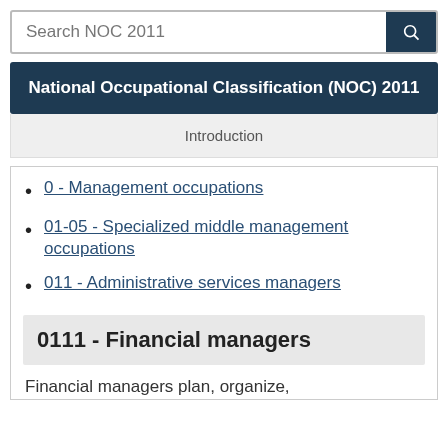Search NOC 2011
National Occupational Classification (NOC) 2011
Introduction
0 - Management occupations
01-05 - Specialized middle management occupations
011 - Administrative services managers
0111 - Financial managers
Financial managers plan, organize,